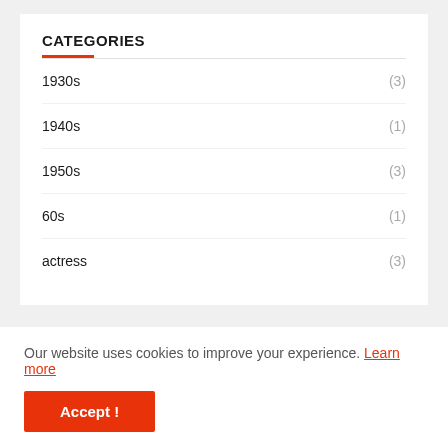CATEGORIES
1930s (3)
1940s (1)
1950s (3)
60s (1)
actress (3)
Our website uses cookies to improve your experience. Learn more
Accept !